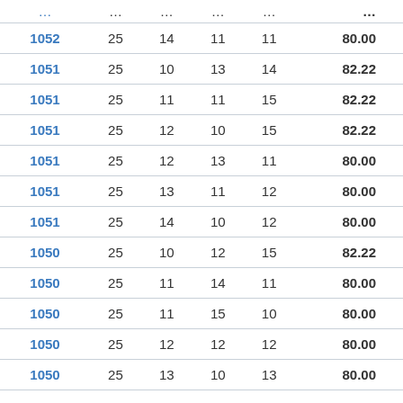| ID | Col2 | Col3 | Col4 | Col5 | Score |
| --- | --- | --- | --- | --- | --- |
| 1052 | 25 | 14 | 11 | 11 | 80.00 |
| 1051 | 25 | 10 | 13 | 14 | 82.22 |
| 1051 | 25 | 11 | 11 | 15 | 82.22 |
| 1051 | 25 | 12 | 10 | 15 | 82.22 |
| 1051 | 25 | 12 | 13 | 11 | 80.00 |
| 1051 | 25 | 13 | 11 | 12 | 80.00 |
| 1051 | 25 | 14 | 10 | 12 | 80.00 |
| 1050 | 25 | 10 | 12 | 15 | 82.22 |
| 1050 | 25 | 11 | 14 | 11 | 80.00 |
| 1050 | 25 | 11 | 15 | 10 | 80.00 |
| 1050 | 25 | 12 | 12 | 12 | 80.00 |
| 1050 | 25 | 13 | 10 | 13 | 80.00 |